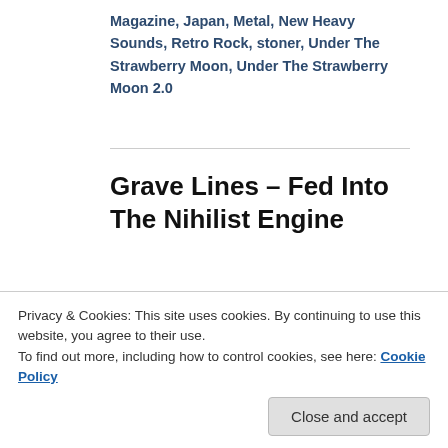Magazine, Japan, Metal, New Heavy Sounds, Retro Rock, stoner, Under The Strawberry Moon, Under The Strawberry Moon 2.0
Grave Lines – Fed Into The Nihilist Engine
Posted on May 9, 2018 by Tim Ledin
[Figure (infographic): Social sharing icons: Facebook (dark blue), Twitter (light blue), Reddit (orange-red), More (orange/gold)]
[Figure (photo): Partial view of a black and white photograph, partially obscured by cookie banner]
Privacy & Cookies: This site uses cookies. By continuing to use this website, you agree to their use.
To find out more, including how to control cookies, see here: Cookie Policy
Close and accept